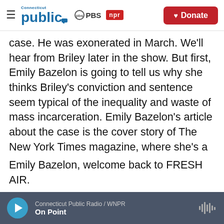Connecticut Public | PBS | NPR | Donate
case. He was exonerated in March. We'll hear from Briley later in the show. But first, Emily Bazelon is going to tell us why she thinks Briley's conviction and sentence seem typical of the inequality and waste of mass incarceration. Emily Bazelon's article about the case is the cover story of The New York Times magazine, where she's a staff writer. She covers criminal justice. Although she has a law degree, she's never practiced law. She's a lecturer at Yale Law School.
Emily Bazelon, welcome back to FRESH AIR.
Connecticut Public Radio / WNPR | On Point